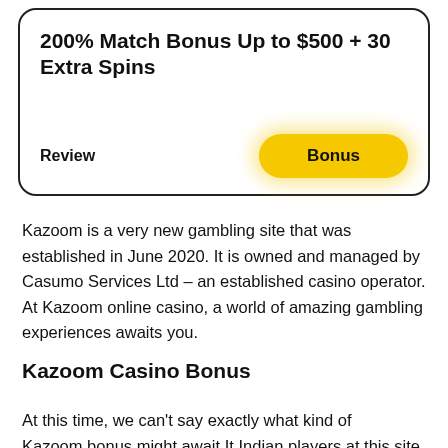200% Match Bonus Up to $500 + 30 Extra Spins
Review
Bonus
Kazoom is a very new gambling site that was established in June 2020. It is owned and managed by Casumo Services Ltd – an established casino operator. At Kazoom online casino, a world of amazing gambling experiences awaits you.
Kazoom Casino Bonus
At this time, we can't say exactly what kind of Kazoom bonus might await Indian players at this site